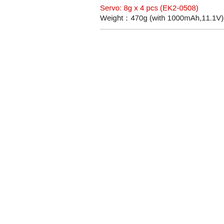Servo: 8g x 4 pcs (EK2-0508)
Weight：470g (with 1000mAh,11.1V)
[Figure (photo): Broken/missing image placeholder in the lower left area of the content region]